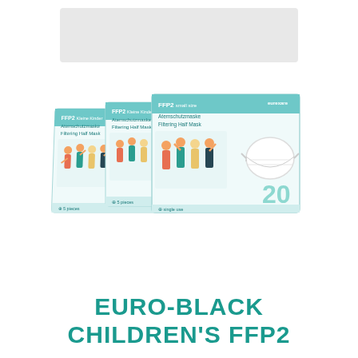[Figure (photo): Three FFP2 children's mask boxes (Atemschutzmaske / Filtering Half Mask) displayed in a staggered arrangement. Each box is white and teal-colored, featuring illustrations of children and a white FFP2 mask. The front box shows '20' pieces and 'single use'. Labels include 'FFP2 small size Atemschutzmaske Filtering Half Mask' and brand logo 'Eurexare'.]
EURO-BLACK CHILDREN'S FFP2